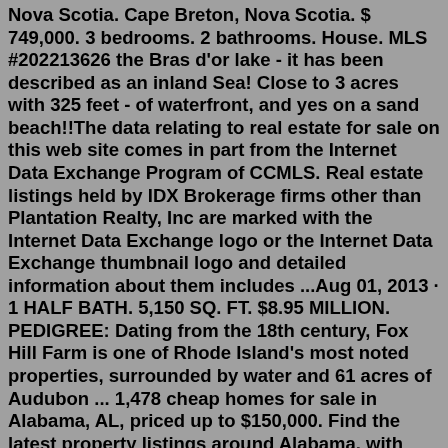Nova Scotia. Cape Breton, Nova Scotia. $ 749,000. 3 bedrooms. 2 bathrooms. House. MLS #202213626 the Bras d'or lake - it has been described as an inland Sea! Close to 3 acres with 325 feet - of waterfront, and yes on a sand beach!!The data relating to real estate for sale on this web site comes in part from the Internet Data Exchange Program of CCMLS. Real estate listings held by IDX Brokerage firms other than Plantation Realty, Inc are marked with the Internet Data Exchange logo or the Internet Data Exchange thumbnail logo and detailed information about them includes ...Aug 01, 2013 · 1 HALF BATH. 5,150 SQ. FT. $8.95 MILLION. PEDIGREE: Dating from the 18th century, Fox Hill Farm is one of Rhode Island's most noted properties, surrounded by water and 61 acres of Audubon ... 1,478 cheap homes for sale in Alabama, AL, priced up to $150,000. Find the latest property listings around Alabama, with easy filtering options. Find your next affordable home or property hereWe're so fortunate to have thousands of lake homes and cabins for sale throughout Minnesota